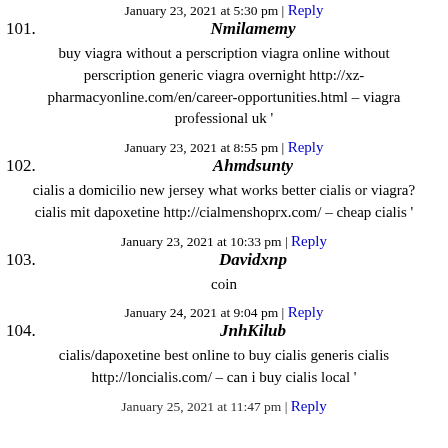January 23, 2021 at 5:30 pm | Reply
101. Nmilamemy
buy viagra without a perscription viagra online without perscription generic viagra overnight http://xz-pharmacyonline.com/en/career-opportunities.html – viagra professional uk '
January 23, 2021 at 8:55 pm | Reply
102. Ahmdsunty
cialis a domicilio new jersey what works better cialis or viagra? cialis mit dapoxetine http://cialmenshoprx.com/ – cheap cialis '
January 23, 2021 at 10:33 pm | Reply
103. Davidxnp
coin
January 24, 2021 at 9:04 pm | Reply
104. JnhKilub
cialis/dapoxetine best online to buy cialis generis cialis http://loncialis.com/ – can i buy cialis local '
January 25, 2021 at 11:47 pm | Reply